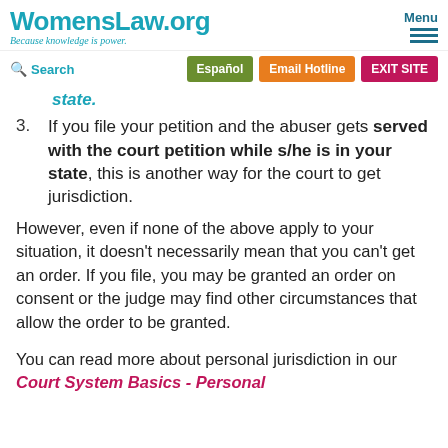WomensLaw.org — Because knowledge is power. Menu | Search | Español | Email Hotline | EXIT SITE
state. (partial, cut off at top)
3. If you file your petition and the abuser gets served with the court petition while s/he is in your state, this is another way for the court to get jurisdiction.
However, even if none of the above apply to your situation, it doesn't necessarily mean that you can't get an order. If you file, you may be granted an order on consent or the judge may find other circumstances that allow the order to be granted.
You can read more about personal jurisdiction in our Court System Basics - Personal